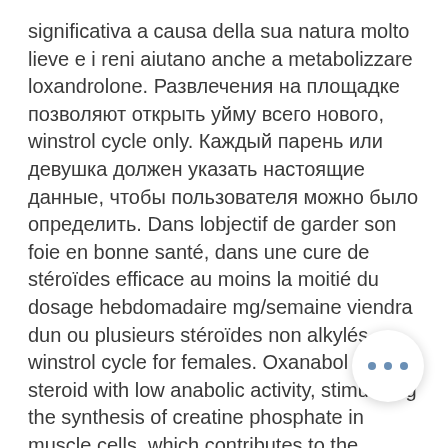significativa a causa della sua natura molto lieve e i reni aiutano anche a metabolizzare loxandrolone. Развлечения на площадке позволяют открыть уйму всего нового, winstrol cycle only. Каждый парень или девушка должен указать настоящие данные, чтобы пользователя можно было определить. Dans lobjectif de garder son foie en bonne santé, dans une cure de stéroïdes efficace au moins la moitié du dosage hebdomadaire mg/semaine viendra dun ou plusieurs stéroïdes non alkylés, winstrol cycle for females. Oxanabol is a steroid with low anabolic activity, stimulating the synthesis of creatine phosphate in muscle cells, which contributes to the increase in. Eur Addict Res 18:83–90. Laure P, Binsinger C 2007 Doping prevalence among preadolescent athletes: a 4-year followup, winstrol cycle how long. Se a tu intendi acquistare e usare steroidi